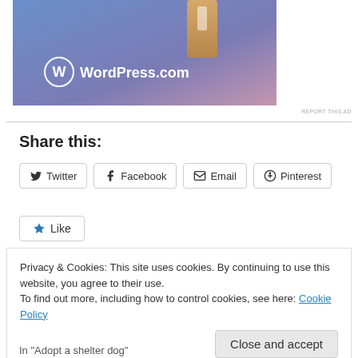[Figure (screenshot): WordPress.com advertisement banner with gradient blue-purple background and WordPress logo]
REPORT THIS AD
Share this:
Twitter Facebook Email Pinterest
Like
Privacy & Cookies: This site uses cookies. By continuing to use this website, you agree to their use.
To find out more, including how to control cookies, see here: Cookie Policy
Close and accept
In "Adopt a shelter dog"